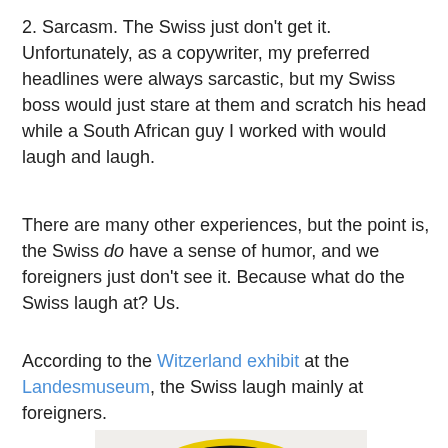2. Sarcasm. The Swiss just don't get it. Unfortunately, as a copywriter, my preferred headlines were always sarcastic, but my Swiss boss would just stare at them and scratch his head while a South African guy I worked with would laugh and laugh.
There are many other experiences, but the point is, the Swiss do have a sense of humor, and we foreigners just don't see it. Because what do the Swiss laugh at? Us.
According to the Witzerland exhibit at the Landesmuseum, the Swiss laugh mainly at foreigners.
[Figure (photo): An embroidered patch on a black circular background with a yellow border, showing Swiss Alps mountains in blue and white, a mountain goat in brown, edelweiss flowers in white with yellow centers, green leaves, and a small Swiss flag (red with white cross).]